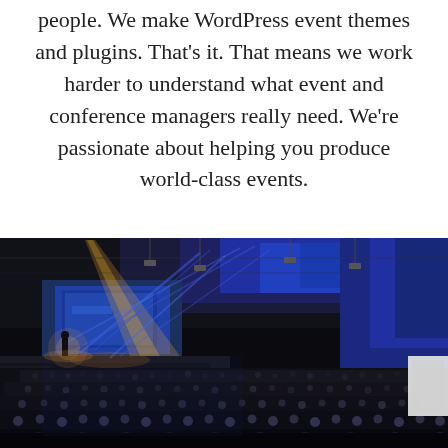Most theme shops try to be all things to all people. We make WordPress event themes and plugins. That's it. That means we work harder to understand what event and conference managers really need. We're passionate about helping you produce world-class events.
[Figure (photo): Large conference hall filled with a crowd of attendees. Stage in the background lit with blue lighting and spotlight beams. Speaker visible on the left side of the stage.]